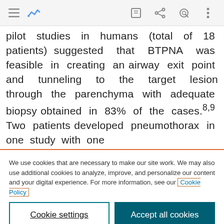[Figure (screenshot): Mobile browser navigation bar with hamburger menu, activity icon, edit icon, share icon, search icon, and more options icon]
pilot studies in humans (total of 18 patients) suggested that BTPNA was feasible in creating an airway exit point and tunneling to the target lesion through the parenchyma with adequate biopsy obtained in 83% of the cases.8,9 Two patients developed pneumothorax in one study with one
We use cookies that are necessary to make our site work. We may also use additional cookies to analyze, improve, and personalize our content and your digital experience. For more information, see our Cookie Policy